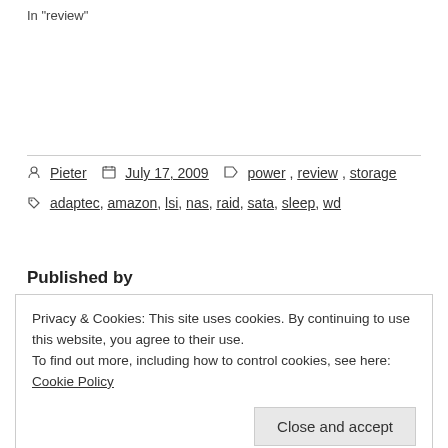In "review"
Pieter  July 17, 2009  power, review, storage  adaptec, amazon, lsi, nas, raid, sata, sleep, wd
Published by
Privacy & Cookies: This site uses cookies. By continuing to use this website, you agree to their use.
To find out more, including how to control cookies, see here: Cookie Policy
Close and accept